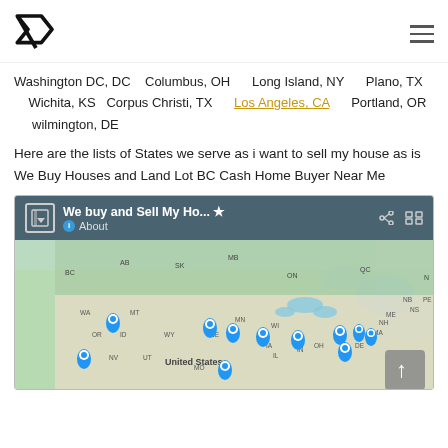BC Logo + Hamburger menu
Washington DC, DC    Columbus, OH      Long Island, NY      Plano, TX     Wichita, KS  Corpus Christi, TX     Los Angeles, CA      Portland, OR      wilmington, DE
Here are the lists of States we serve as i want to sell my house as is We Buy Houses and Land Lot BC Cash Home Buyer Near Me
[Figure (map): Google Map embed titled 'We buy and Sell My Ho...' showing location pins across the United States and southern Canada, with province/state labels such as BC, AB, MB, SK, ON, QC, WA, MT, MN, WI, OR, ID, WY, NE, IA, IL, IN, OH, NV, UT, MO, DE, MA, NH, ME, NB, PE, NS. Multiple blue map pins are scattered across the US map.]